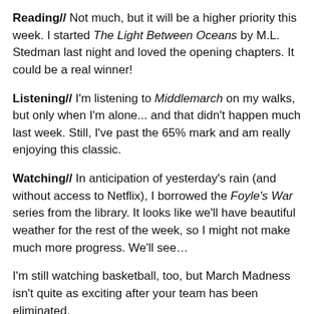Reading//  Not much, but it will be a higher priority this week. I started The Light Between Oceans by M.L. Stedman last night and loved the opening chapters. It could be a real winner!
Listening//  I'm listening to Middlemarch on my walks, but only when I'm alone... and that didn't happen much last week. Still, I've past the 65% mark and am really enjoying this classic.
Watching//  In anticipation of yesterday's rain (and without access to Netflix), I borrowed the Foyle's War series from the library. It looks like we'll have beautiful weather for the rest of the week, so I might not make much more progress. We'll see…
I'm still watching basketball, too, but March Madness isn't quite as exciting after your team has been eliminated.
Blogging//  The TBR Triple Dog Dare ends tomorrow and it looks  like I'm going to make it! That is, if you forget about the special one-day dispensation graciously granted last